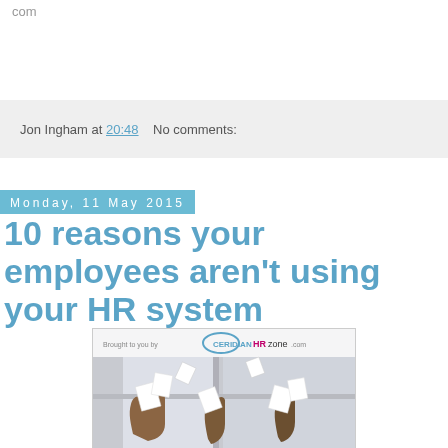com
Jon Ingham at 20:48   No comments:
Monday, 11 May 2015
10 reasons your employees aren't using your HR system
[Figure (photo): Book/report cover image showing hands raised throwing papers, with 'Brought to you by Ceridian HRzone.com' text at the top]